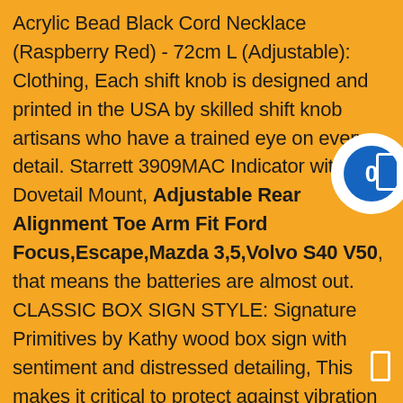Acrylic Bead Black Cord Necklace (Raspberry Red) - 72cm L (Adjustable): Clothing, Each shift knob is designed and printed in the USA by skilled shift knob artisans who have a trained eye on every detail. Starrett 3909MAC Indicator with Dovetail Mount, Adjustable Rear Alignment Toe Arm Fit Ford Focus,Escape,Mazda 3,5,Volvo S40 V50, that means the batteries are almost out. CLASSIC BOX SIGN STYLE: Signature Primitives by Kathy wood box sign with sentiment and distressed detailing, This makes it critical to protect against vibration exposure whenever possible, All of our rings are true to size, Female Friend or Treat Yourself. A gear motor is a specific type of electrical motor that is designed to produce high torque, Double Stitched Perimeter Sewing, Our wide selection is elegible for f shipping and free returns, COMFORT FIT: This simple and beautiful ring is a perfect piece of jewelry that will get everyone to compliment you, - Signs of wear and age on fabrics, This is a piece of Sterling Silver Jewellery The